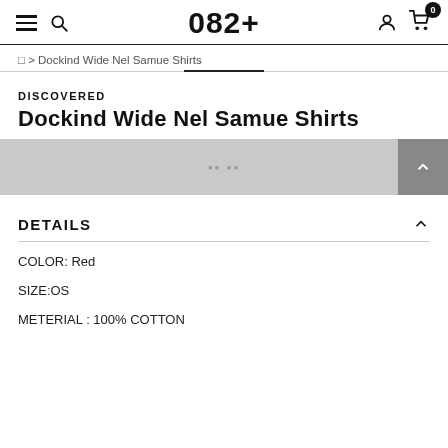082+
☐ > Dockind Wide Nel Samue Shirts
DISCOVERED
Dockind Wide Nel Samue Shirts
DETAILS
COLOR: Red
SIZE:OS
METERIAL : 100% COTTON